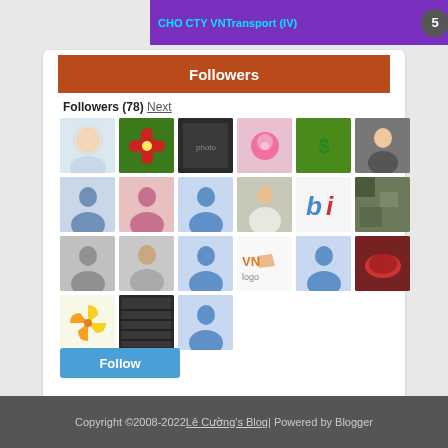[Figure (screenshot): Purple top banner with text 'CHO CTY VNTransport (IV)' and a dark circular badge with number 5]
Followers
Followers (78) Next
[Figure (infographic): Grid of 21 follower avatar thumbnails arranged in 4 rows of 6 and one partial row, showing profile photos and placeholder silhouette icons]
Follow
Copyright ©2008-2022 Lê Cường's Blog | Powered by Blogger